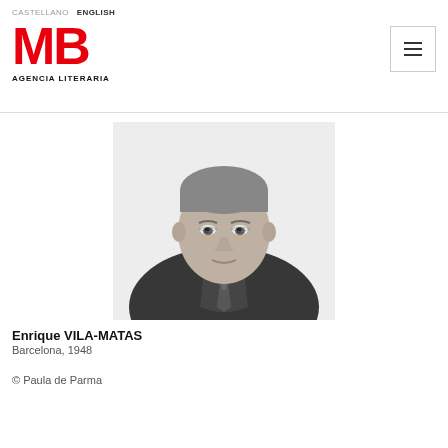CASTELLANO   ENGLISH
MB
AGENCIA LITERARIA
[Figure (photo): Black and white portrait photo of Enrique Vila-Matas, a middle-aged man in a dark jacket and tie, looking slightly to the side]
Enrique VILA-MATAS
Barcelona, 1948
© Paula de Parma